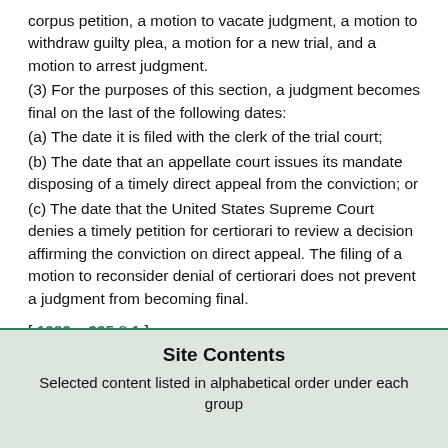corpus petition, a motion to vacate judgment, a motion to withdraw guilty plea, a motion for a new trial, and a motion to arrest judgment.
(3) For the purposes of this section, a judgment becomes final on the last of the following dates:
(a) The date it is filed with the clerk of the trial court;
(b) The date that an appellate court issues its mandate disposing of a timely direct appeal from the conviction; or
(c) The date that the United States Supreme Court denies a timely petition for certiorari to review a decision affirming the conviction on direct appeal. The filing of a motion to reconsider denial of certiorari does not prevent a judgment from becoming final.
[ 1989 c 395 § 1.]
Site Contents
Selected content listed in alphabetical order under each group